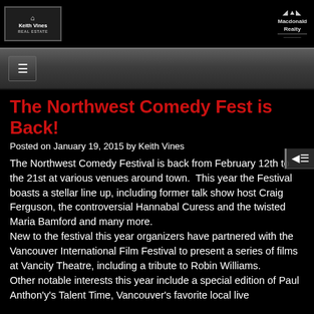[Figure (logo): Keith Vines Real Estate logo - dark box with house icon and text 'KeithVines']
[Figure (logo): Macdonald Realty logo - arc/rainbow icon with text 'Macdonald Realty']
Navigation bar with hamburger menu icon
The Northwest Comedy Fest is Back!
Posted on January 19, 2015 by Keith Vines
The Northwest Comedy Festival is back from February 12th to the 21st at various venues around town.  This year the Festival boasts a stellar line up, including former talk show host Craig Ferguson, the controversial Hannabal Curess and the twisted Maria Bamford and many more. New to the festival this year organizers have partnered with the Vancouver International Film Festival to present a series of films at Vancity Theatre, including a tribute to Robin Williams. Other notable interests this year include a special edition of Paul Anthon'y's Talent Time, Vancouver's favorite local live